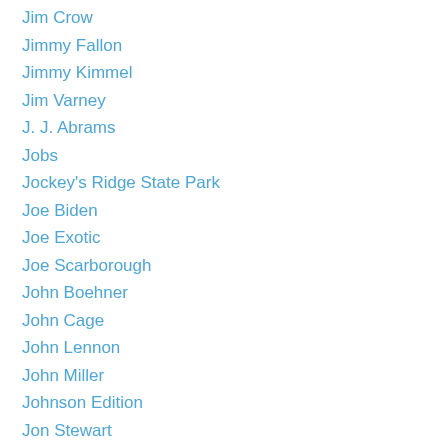Jim Crow
Jimmy Fallon
Jimmy Kimmel
Jim Varney
J. J. Abrams
Jobs
Jockey's Ridge State Park
Joe Biden
Joe Exotic
Joe Scarborough
John Boehner
John Cage
John Lennon
John Miller
Johnson Edition
Jon Stewart
Joseph Charles McKenzie
Journalism
Jr.
Judy Chicago
July 4th